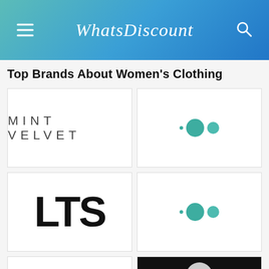WhatsDiscount
Top Brands About Women's Clothing
[Figure (logo): Mint Velvet brand logo in light gray spaced uppercase letters]
[Figure (logo): Loading dots indicator with teal circles]
[Figure (logo): LTS brand logo in large bold black uppercase letters]
[Figure (logo): Loading dots indicator with teal circles]
[Figure (logo): Partial card, empty white]
[Figure (logo): Partial card with black background and circular logo partially visible]